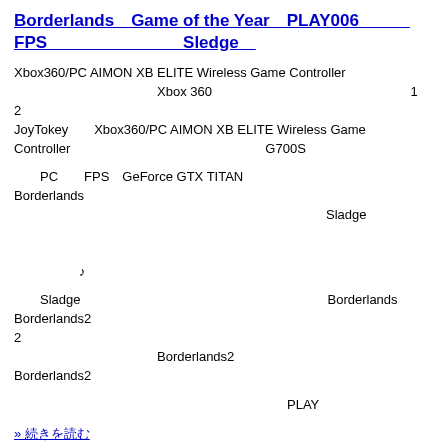Borderlands　Game of the Year　PLAY006　　　FPS　　　　　　　　Sledge
Xbox360/PC AIMON XB ELITE Wireless Game Controller　　　　　　　　　　　　　　　　Xbox 360 　　　　　　　　　　　　　1　　　　　　2　　　　　　　　　JoyTokey　　Xbox360/PC AIMON XB ELITE Wireless Game Controller　　　　　　　　　　　　　　　G700S
PC　　FPS　GeForce GTX TITAN　　　　　　　　　　　Borderlands　　　　　　　　　　　　　　　　　　　　　　　　　　　　　　Sladge　　　　　　　　　　　　　　　　　　　　　　　　　　　　　　　　　　　　　　　　　　　　　　　　　　　　　　　　　　　　　　　　　　　　　　　　　　　　　　　　　　　　　　♪
Sladge　　　　　　　　　　　　　　　　　　　Borderlands　　　　　　　　　　　　　　　　　Borderlands2　　　　　　　　　　　　　　　　　　　　　　　　　　　　　　　　　　　　　2　　　　　　　　　　　　　　　　　Borderlands2　　　　　　　　　　　　　　　　　　　　　　　　　　　Borderlands2
PLAY
» 続きを読む